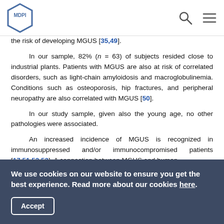MDPI
the risk of developing MGUS [35,49].
In our sample, 82% (n = 63) of subjects resided close to industrial plants. Patients with MGUS are also at risk of correlated disorders, such as light-chain amyloidosis and macroglobulinemia. Conditions such as osteoporosis, hip fractures, and peripheral neuropathy are also correlated with MGUS [50].
In our study sample, given also the young age, no other pathologies were associated.
An increased incidence of MGUS is recognized in immunosuppressed and/or immunocompromised patients [17,51,52,53]. A connection between MGUS and human
We use cookies on our website to ensure you get the best experience. Read more about our cookies here.
Accept